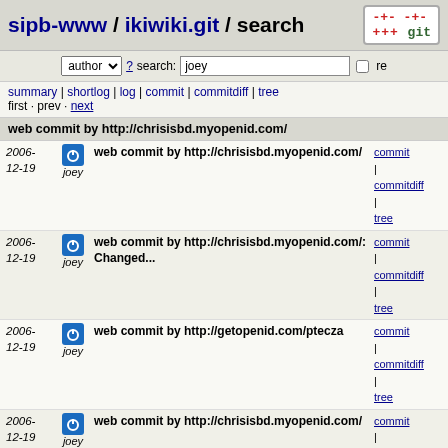sipb-www / ikiwiki.git / search
author ? search: joey re
summary | shortlog | log | commit | commitdiff | tree
first · prev · next
web commit by http://chrisisbd.myopenid.com/
2006-12-19 joey web commit by http://chrisisbd.myopenid.com/ commit | commitdiff | tree
2006-12-19 joey web commit by http://chrisisbd.myopenid.com/: Changed... commit | commitdiff | tree
2006-12-19 joey web commit by http://getopenid.com/ptecza commit | commitdiff | tree
2006-12-19 joey web commit by http://chrisisbd.myopenid.com/ commit | commitdiff | tree
2006-12-19 joey web commit by http://chrisisbd.myopenid.com/ commit | commitdiff | tree
2006-12-19 joey web commit from 203.94.152.58: poll vote (Accept both) commit | commitdiff | tree
2006-12-18 joey web commit by http://dmarti.myopenid.com/ commit | commitdiff | tree
2006-12-18 joey use POST commit | commitdiff | tree